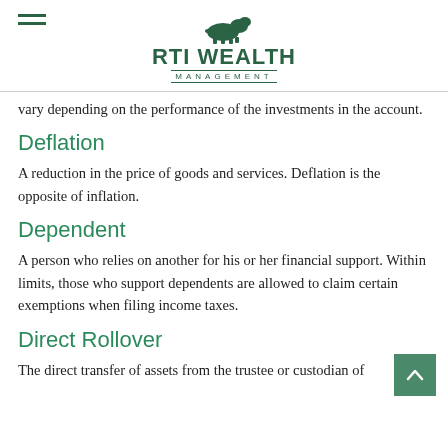RTI WEALTH MANAGEMENT
vary depending on the performance of the investments in the account.
Deflation
A reduction in the price of goods and services. Deflation is the opposite of inflation.
Dependent
A person who relies on another for his or her financial support. Within limits, those who support dependents are allowed to claim certain exemptions when filing income taxes.
Direct Rollover
The direct transfer of assets from the trustee or custodian of